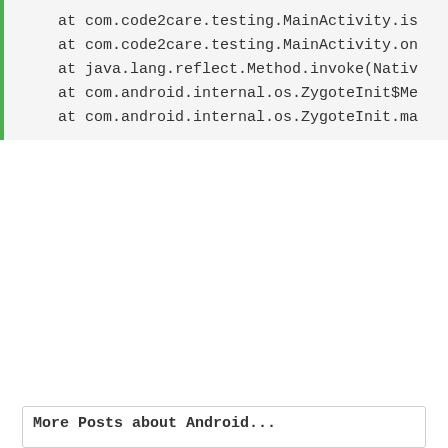at com.code2care.testing.MainActivity.is
at com.code2care.testing.MainActivity.on
at java.lang.reflect.Method.invoke(Nativ
at com.android.internal.os.ZygoteInit$Me
at com.android.internal.os.ZygoteInit.ma
More Posts about Android...